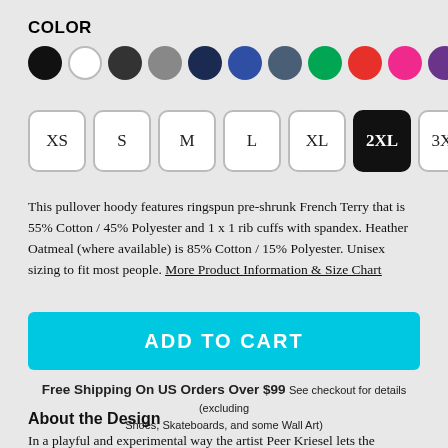COLOR
[Figure (illustration): Row of 11 color swatches (circles): black, white, dark charcoal, gray, dark navy, blue, slate, green, red, hot pink, purple]
[Figure (illustration): Size selector buttons: XS, S, M, L, XL, 2XL (selected/black), 3XL]
This pullover hoody features ringspun pre-shrunk French Terry that is 55% Cotton / 45% Polyester and 1 x 1 rib cuffs with spandex. Heather Oatmeal (where available) is 85% Cotton / 15% Polyester. Unisex sizing to fit most people. More Product Information & Size Chart
ADD TO CART
Free Shipping On US Orders Over $99 See checkout for details (excluding Shoes, Skateboards, and some Wall Art)
About the Design
In a playful and experimental way the artist Peer Kriesel lets the